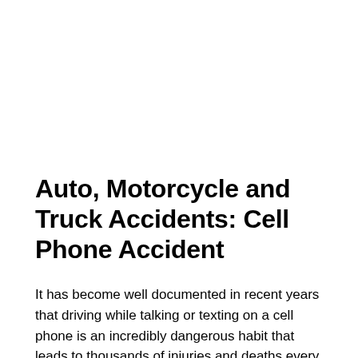Auto, Motorcycle and Truck Accidents: Cell Phone Accident
It has become well documented in recent years that driving while talking or texting on a cell phone is an incredibly dangerous habit that leads to thousands of injuries and deaths every year. Although California has banned both hand-held use of cell phones and texting while driving, there are still numerous accidents every year in San Diego and across the state caused by distraction due to cell phone use.